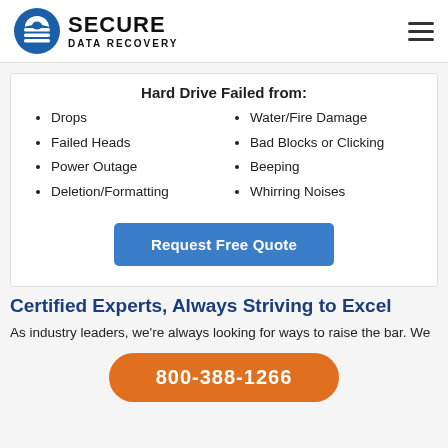SECURE DATA RECOVERY
Hard Drive Failed from:
Drops
Failed Heads
Power Outage
Deletion/Formatting
Water/Fire Damage
Bad Blocks or Clicking
Beeping
Whirring Noises
Request Free Quote
Certified Experts, Always Striving to Excel
As industry leaders, we’re always looking for ways to raise the bar. We
800-388-1266